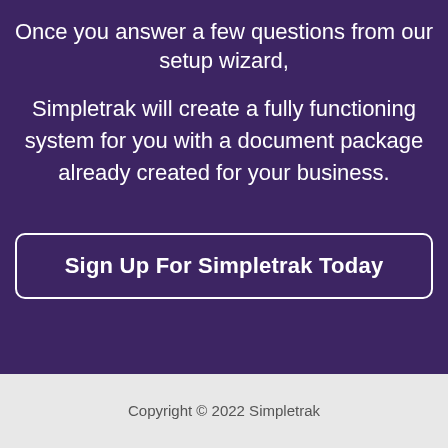Once you answer a few questions from our setup wizard,
Simpletrak will create a fully functioning system for you with a document package already created for your business.
Sign Up For Simpletrak Today
Copyright © 2022 Simpletrak